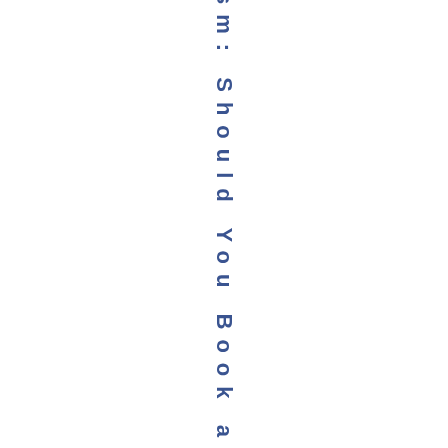sm: Should You Book a Surgery W